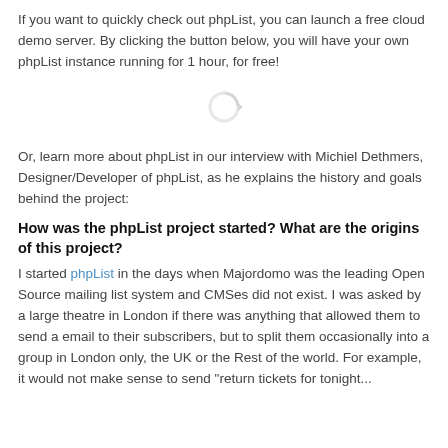If you want to quickly check out phpList, you can launch a free cloud demo server. By clicking the button below, you will have your own phpList instance running for 1 hour, for free!
[Figure (other): A loading spinner icon (circular arrow)]
Or, learn more about phpList in our interview with Michiel Dethmers, Designer/Developer of phpList, as he explains the history and goals behind the project:
How was the phpList project started? What are the origins of this project?
I started phpList in the days when Majordomo was the leading Open Source mailing list system and CMSes did not exist. I was asked by a large theatre in London if there was anything that allowed them to send a email to their subscribers, but to split them occasionally into a group in London only, the UK or the Rest of the world. For example, it would not make sense to send "return tickets for tonight...